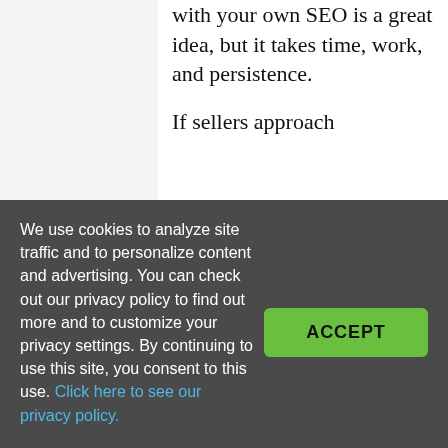with your own SEO is a great idea, but it takes time, work, and persistence.
If sellers approach
We use cookies to analyze site traffic and to personalize content and advertising. You can check out our privacy policy to find out more and to customize your privacy settings. By continuing to use this site, you consent to this use. Click here to see our privacy policy.